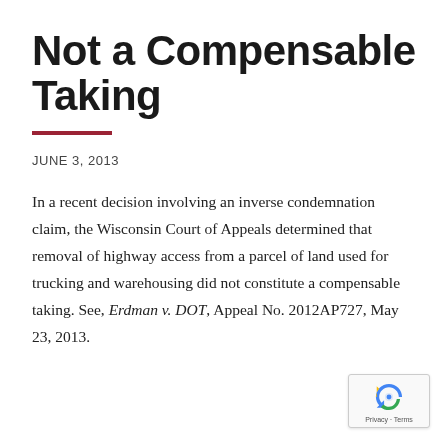Not a Compensable Taking
JUNE 3, 2013
In a recent decision involving an inverse condemnation claim, the Wisconsin Court of Appeals determined that removal of highway access from a parcel of land used for trucking and warehousing did not constitute a compensable taking. See, Erdman v. DOT, Appeal No. 2012AP727, May 23, 2013.